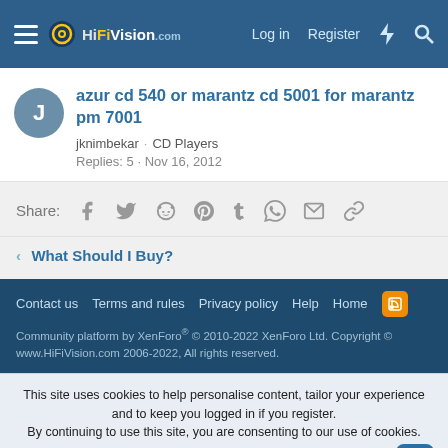HiFiVision.com — Log in  Register
azur cd 540 or marantz cd 5001 for marantz pm 7001
jknimbekar · CD Players
Replies: 5 · Nov 16, 2012
Share: [Facebook] [Twitter] [Reddit] [Pinterest] [Tumblr] [WhatsApp] [Email] [Link]
< What Should I Buy?
Contact us  Terms and rules  Privacy policy  Help  Home
Community platform by XenForo® © 2010-2022 XenForo Ltd. Copyright © www.HiFiVision.com 2006-2022, All rights reserved.
This site uses cookies to help personalise content, tailor your experience and to keep you logged in if you register.
By continuing to use this site, you are consenting to our use of cookies.
Accept  Learn more...